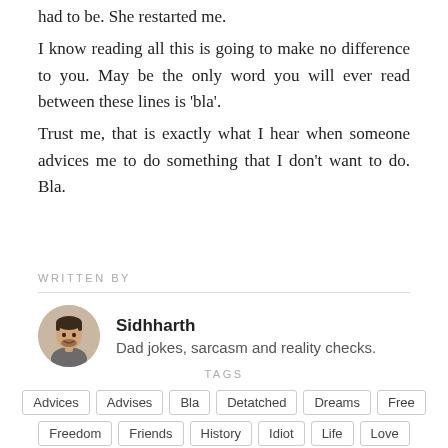had to be. She restarted me.
I know reading all this is going to make no difference to you. May be the only word you will ever read between these lines is 'bla'.
Trust me, that is exactly what I hear when someone advices me to do something that I don't want to do. Bla.
WRITTEN BY
Sidhharth — Dad jokes, sarcasm and reality checks.
TAGS
Advices
Advises
Bla
Detatched
Dreams
Free
Freedom
Friends
History
Idiot
Life
Love
Marriage
Nonsense
People
Someone
Special